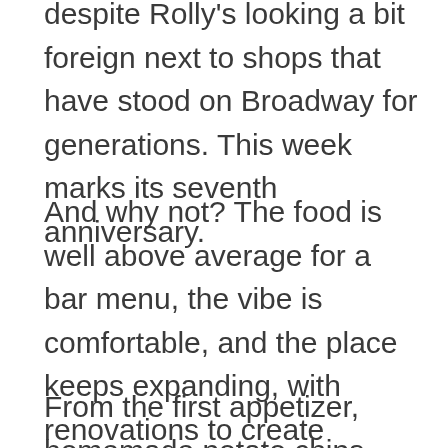despite Rolly's looking a bit foreign next to shops that have stood on Broadway for generations. This week marks its seventh anniversary.
And why not? The food is well above average for a bar menu, the vibe is comfortable, and the place keeps expanding, with renovations to create additional seating slated for next month.
From the first appetizer, homemade potato chips ($6.99) with French onion dip, it's clear why Rolly's is packed. Steaming, lightly salted